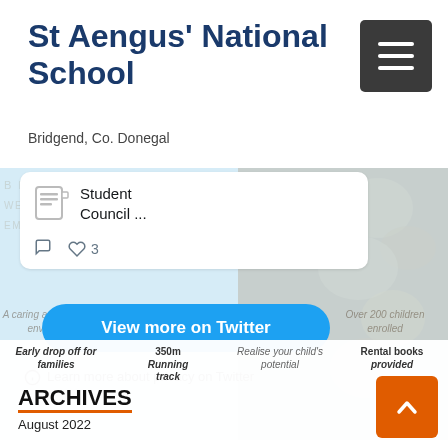St Aengus' National School
Bridgend, Co. Donegal
[Figure (screenshot): Twitter/X embedded widget showing a tweet about Student Council with a 'View more on Twitter' button and a 'Learn more about privacy on Twitter' note. Background shows school website watermark text and feature highlights.]
Student Council ...
View more on Twitter
Learn more about privacy on Twitter
Early drop off for families
350m Running track
Realise your child's potential
Rental books provided
ARCHIVES
August 2022